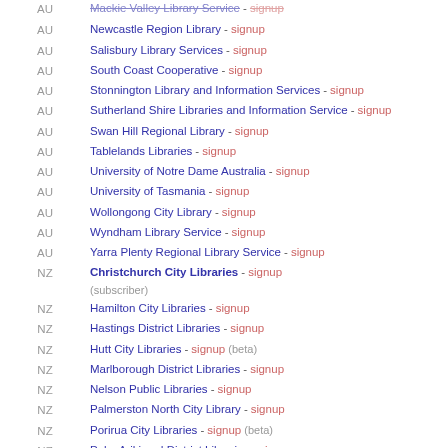AU - Mackie Valley Library Service - signup
AU - Newcastle Region Library - signup
AU - Salisbury Library Services - signup
AU - South Coast Cooperative - signup
AU - Stonnington Library and Information Services - signup
AU - Sutherland Shire Libraries and Information Service - signup
AU - Swan Hill Regional Library - signup
AU - Tablelands Libraries - signup
AU - University of Notre Dame Australia - signup
AU - University of Tasmania - signup
AU - Wollongong City Library - signup
AU - Wyndham Library Service - signup
AU - Yarra Plenty Regional Library Service - signup
NZ - Christchurch City Libraries - signup (subscriber)
NZ - Hamilton City Libraries - signup
NZ - Hastings District Libraries - signup
NZ - Hutt City Libraries - signup (beta)
NZ - Marlborough District Libraries - signup
NZ - Nelson Public Libraries - signup
NZ - Palmerston North City Library - signup
NZ - Porirua City Libraries - signup (beta)
NZ - Puke Ariki and District Libraries - signup
NZ - Timaru District Library - signup
NZ - Upper Hutt City Library - signup